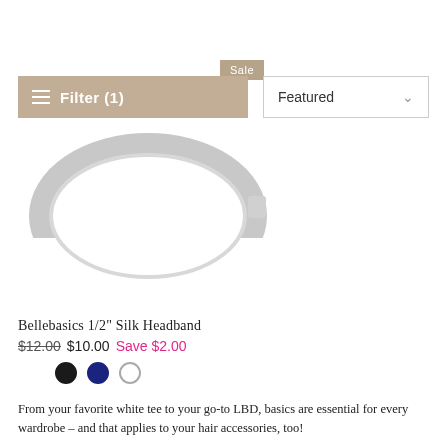Sale
Filter (1)
Featured
[Figure (photo): A white/light grey plastic hair headband photographed on white background]
Bellebasics 1/2" Silk Headband
$12.00  $10.00  Save $2.00
[Figure (other): Three color swatches: black, navy blue, white]
From your favorite white tee to your go-to LBD, basics are essential for every wardrobe – and that applies to your hair accessories, too!